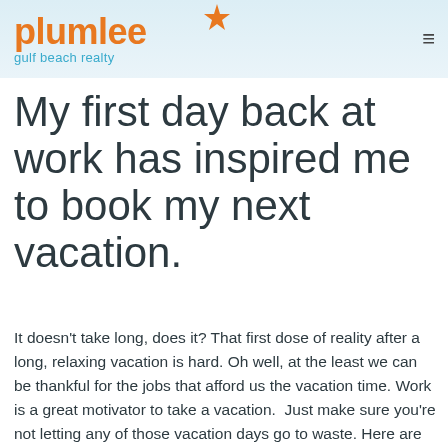[Figure (logo): Plumlee Gulf Beach Realty logo with orange star and teal tagline text]
My first day back at work has inspired me to book my next vacation.
It doesn't take long, does it? That first dose of reality after a long, relaxing vacation is hard. Oh well, at the least we can be thankful for the jobs that afford us the vacation time. Work is a great motivator to take a vacation.  Just make sure you're not letting any of those vacation days go to waste. Here are some important reasons why vacations matter (are good for you).